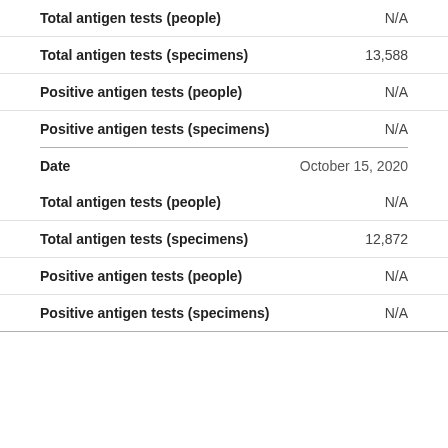| Field | Value |
| --- | --- |
| Total antigen tests (people) | N/A |
| Total antigen tests (specimens) | 13,588 |
| Positive antigen tests (people) | N/A |
| Positive antigen tests (specimens) | N/A |
| Date | October 15, 2020 |
| Total antigen tests (people) | N/A |
| Total antigen tests (specimens) | 12,872 |
| Positive antigen tests (people) | N/A |
| Positive antigen tests (specimens) | N/A |